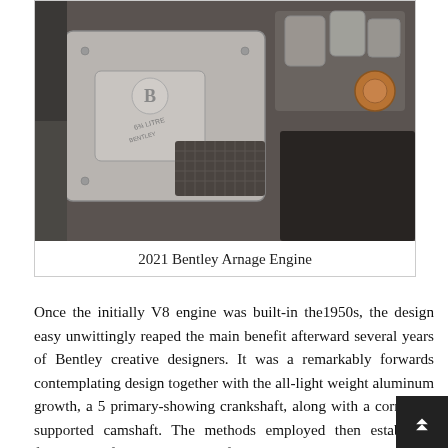[Figure (photo): Close-up photograph of a 2021 Bentley Arnage engine bay showing the engine cover with the Bentley 'B' logo/badge on a metallic plate, mesh grille, and various engine components in silver and dark gray tones.]
2021 Bentley Arnage Engine
Once the initially V8 engine was built-in the1950s, the design easy unwittingly reaped the main benefit afterward several years of Bentley creative designers. It was a remarkably forwards contemplating design together with the all-light weight aluminum growth, a 5 primary-showing crankshaft, along with a correctly-supported camshaft. The methods employed then establ the foundations for this longevity of the engine.